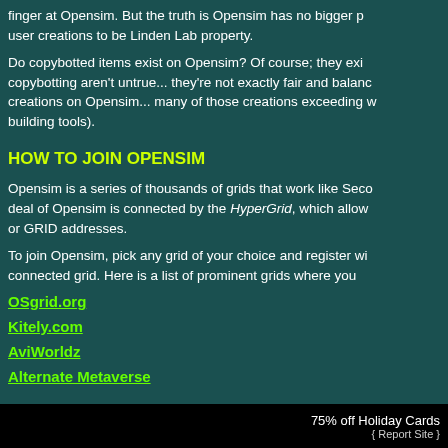finger at Opensim.  But the truth is Opensim has no bigger p... user creations to be Linden Lab property.
Do copybotted items exist on Opensim?  Of course; they exi... copybotting aren't untrue... they're not exactly fair and balanc... creations on Opensim... many of those creations exceeding w... building tools).
HOW TO JOIN OPENSIM
Opensim is a series of thousands of grids that work like Seco... deal of Opensim is connected by the HyperGrid, which allow... or GRID addresses.
To join Opensim, pick any grid of your choice and register wi... connected grid.   Here is a list of prominent grids where you ...
OSgrid.org
Kitely.com
AviWorldz
Alternate Metaverse
75% off Holiday Cards  { Report Site }